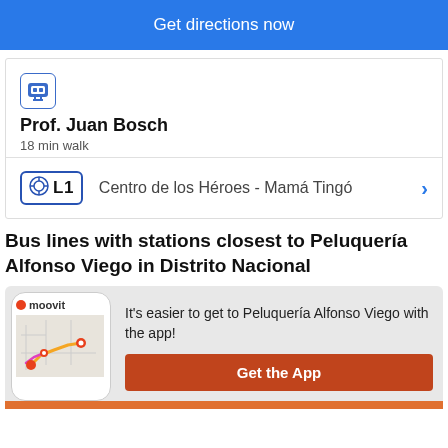Get directions now
[Figure (screenshot): Transit station info card showing subway icon, Prof. Juan Bosch station name, 18 min walk, and L1 line to Centro de los Héroes - Mamá Tingó]
Bus lines with stations closest to Peluquería Alfonso Viego in Distrito Nacional
[Figure (screenshot): Moovit app promo showing phone with map route and text: It's easier to get to Peluquería Alfonso Viego with the app! and Get the App button]